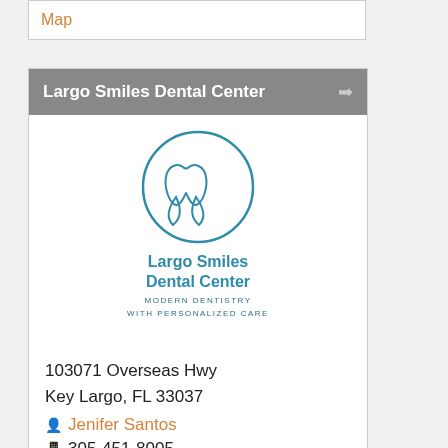Map
Largo Smiles Dental Center
[Figure (logo): Largo Smiles Dental Center logo: circle with tooth icon above text 'Largo Smiles Dental Center - Modern Dentistry with Personalized Care']
103071 Overseas Hwy
Key Largo, FL 33037
Jenifer Santos
305-451-8005
General & Cosmetic Dentistry, Dental Emergency, Family Dentist, Extractions & implants done on site, Walkins welcome,